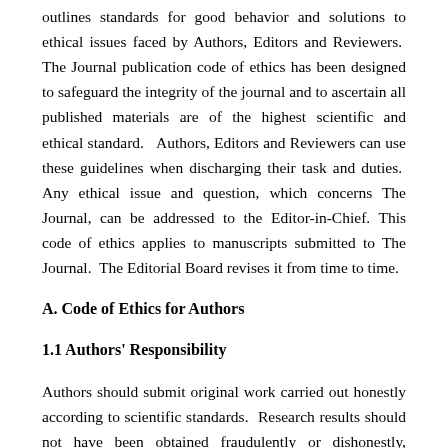outlines standards for good behavior and solutions to ethical issues faced by Authors, Editors and Reviewers.  The Journal publication code of ethics has been designed to safeguard the integrity of the journal and to ascertain all published materials are of the highest scientific and ethical standard.   Authors, Editors and Reviewers can use these guidelines when discharging their task and duties.  Any ethical issue and question, which concerns The Journal, can be addressed to the Editor-in-Chief. This code of ethics applies to manuscripts submitted to The Journal.  The Editorial Board revises it from time to time.
A. Code of Ethics for Authors
1.1 Authors' Responsibility
Authors should submit original work carried out honestly according to scientific standards.  Research results should not have been obtained fraudulently or dishonestly, fabricated or